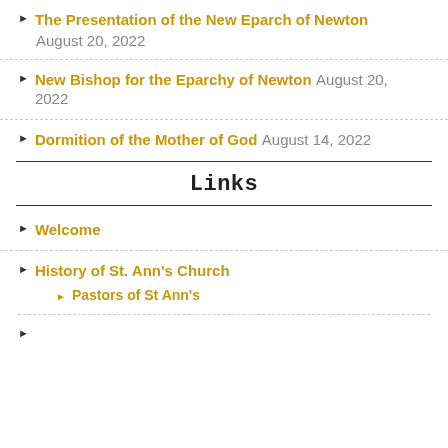The Presentation of the New Eparch of Newton August 20, 2022
New Bishop for the Eparchy of Newton August 20, 2022
Dormition of the Mother of God August 14, 2022
Links
Welcome
History of St. Ann's Church
Pastors of St Ann's